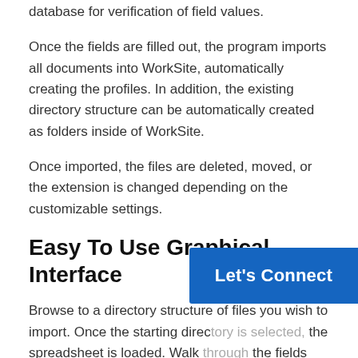database for verification of field values.
Once the fields are filled out, the program imports all documents into WorkSite, automatically creating the profiles. In addition, the existing directory structure can be automatically created as folders inside of WorkSite.
Once imported, the files are deleted, moved, or the extension is changed depending on the customizable settings.
Easy To Use Graphical Interface
Browse to a directory structure of files you wish to import. Once the starting directory is selected, the spreadsheet is loaded. Walk through the fields and fill out the appropriate fields. The program is fully tied to the WorkSite database. You can fill out fields from
[Figure (other): Blue 'Let's Connect' button overlay in bottom right corner]